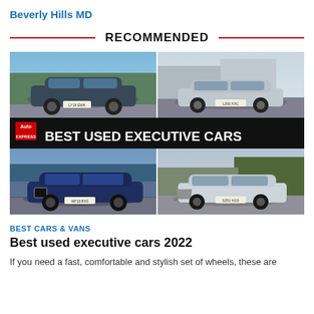Beverly Hills MD
RECOMMENDED
[Figure (photo): Auto Express article image showing four executive cars in a 2x2 grid with a banner reading 'BEST USED EXECUTIVE CARS' in the middle]
BEST CARS & VANS
Best used executive cars 2022
If you need a fast, comfortable and stylish set of wheels, these are